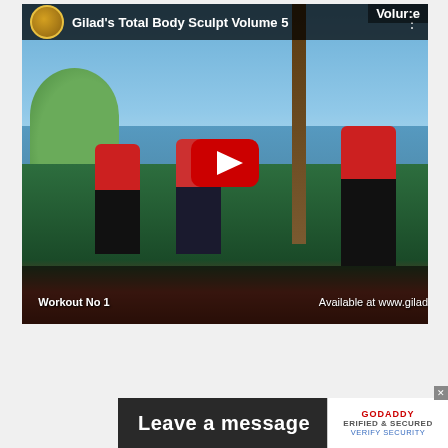[Figure (screenshot): YouTube video thumbnail for 'Gilad's Total Body Sculpt Volume 5' showing three fitness instructors in red tops standing outdoors near water, with a YouTube play button overlay. Bottom text reads 'Workout No 1' and 'Available at www.gilad'. Top bar shows channel logo and video title.]
Read more >
Leave a message
[Figure (logo): GoDaddy Verified & Secured badge with text: GODADDY, VERIFIED & SECURED, VERIFY SECURITY]